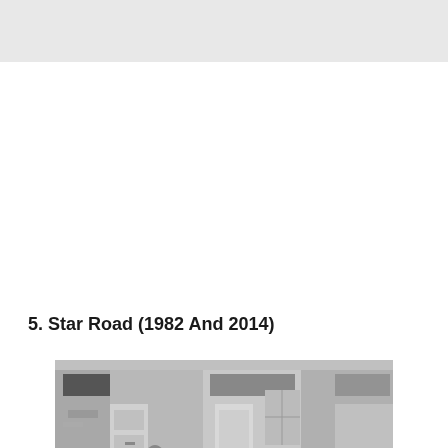5. Star Road (1982 And 2014)
[Figure (photo): Black and white photograph showing the front of terraced houses on Star Road, with two people standing outside the front doors. The image appears to show the same location in 1982 and 2014.]